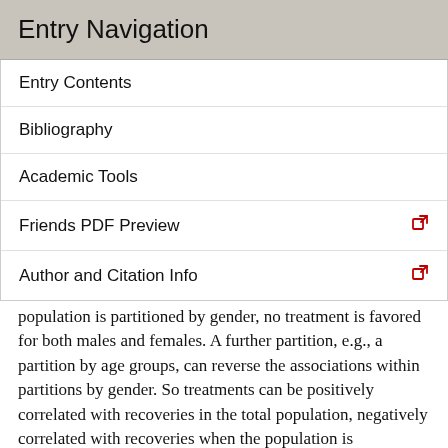Entry Navigation
Entry Contents
Bibliography
Academic Tools
Friends PDF Preview
Author and Citation Info
population is partitioned by gender, no treatment is favored for both males and females. A further partition, e.g., a partition by age groups, can reverse the associations within partitions by gender. So treatments can be positively correlated with recoveries in the total population, negatively correlated with recoveries when the population is partitioned by gender, and positively correlated with recoveries when the population is partitioned by age. The generality of the boundary conditions for Simpson's reversals of inequalities guarantees that there always are models in arithmetic that